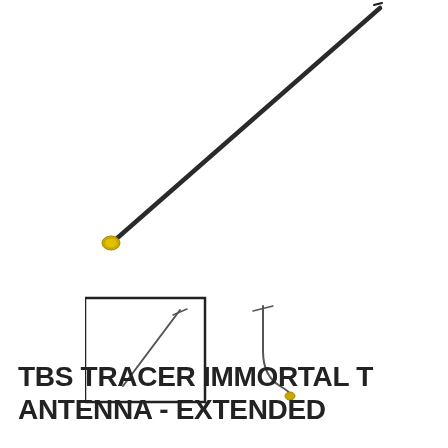[Figure (photo): A long TBS Tracer Immortal T antenna with a dark/black cable running diagonally from upper right to lower left, with a gold-colored U.FL connector at the bottom-left end.]
[Figure (photo): Two thumbnail views of the TBS Tracer Immortal T antenna. Left thumbnail shows a front/straight view inside a square border. Right thumbnail shows a side/bent view without border.]
TBS TRACER IMMORTAL T ANTENNA - EXTENDED